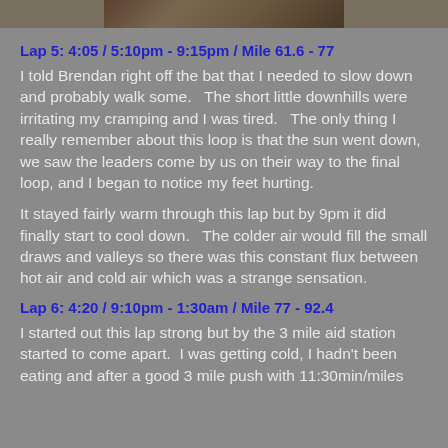[Figure (photo): Partial photo strip visible at the top of the page, showing a dark outdoor image]
Lap 5: 4:05 / 5:10pm - 9:15pm / Mile 61.6 - 77
I told Brendan right off the bat that I needed to slow down and probably walk some.   The short little downhills were irritating my cramping and I was tired.   The only thing I really remember about this loop is that the sun went down, we saw the leaders come by us on their way to the final loop, and I began to notice my feet hurting.
It stayed fairly warm through this lap but by 9pm it did finally start to cool down.   The colder air would fill the small draws and valleys so there was this constant flux between hot air and cold air which was a strange sensation.
Lap 6: 4:20 / 9:10pm - 1:30am / Mile 77 - 92.4
I started out this lap strong but by the 3 mile aid station started to come apart.  I was getting cold, I hadn't been eating and after a good 3 mile push with 11:30min/miles